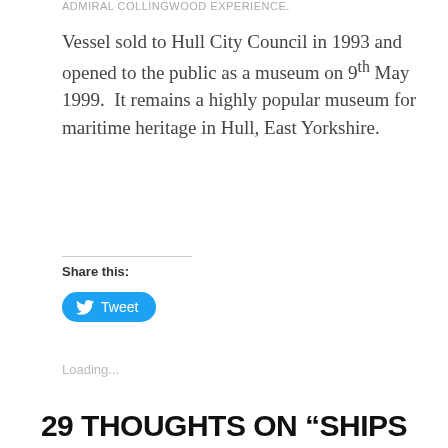ADMIRAL COLLINGWOOD EXPERIENCE.
Vessel sold to Hull City Council in 1993 and opened to the public as a museum on 9th May 1999.  It remains a highly popular museum for maritime heritage in Hull, East Yorkshire.
Share this:
Tweet
Loading...
29 THOUGHTS ON “SHIPS